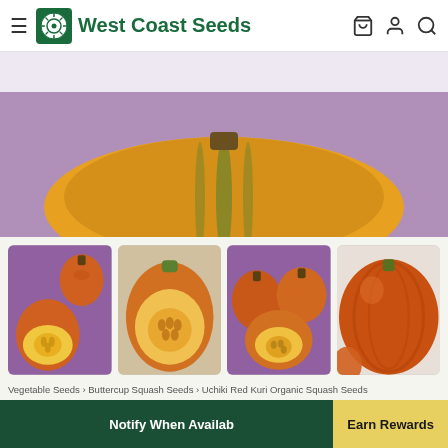West Coast Seeds
[Figure (photo): Main product image showing squash on purple background]
[Figure (photo): Four thumbnail images of Uchiki Red Kuri organic squash showing whole and cut views]
Vegetable Seeds › Buttercup Squash Seeds › Uchiki Red Kuri Organic Squash Seeds
★★★★★ 4 Reviews
Uchiki Red Kuri Organic
Notify When Availab   Earn Rewards